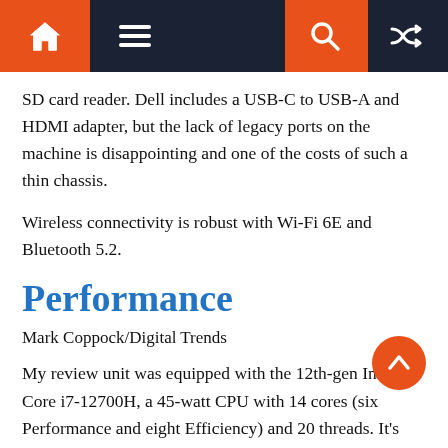Navigation bar with home, menu, search, and shuffle icons
SD card reader. Dell includes a USB-C to USB-A and HDMI adapter, but the lack of legacy ports on the machine is disappointing and one of the costs of such a thin chassis.
Wireless connectivity is robust with Wi-Fi 6E and Bluetooth 5.2.
Performance
Mark Coppock/Digital Trends
My review unit was equipped with the 12th-gen Intel Core i7-12700H, a 45-watt CPU with 14 cores (six Performance and eight Efficiency) and 20 threads. It's been a solid performer in other laptops we've tested, all of which have been larger and/or thicker machines. Dell paid a lot of attention to thermal design with the XPS 15, using two fans and heat pipes